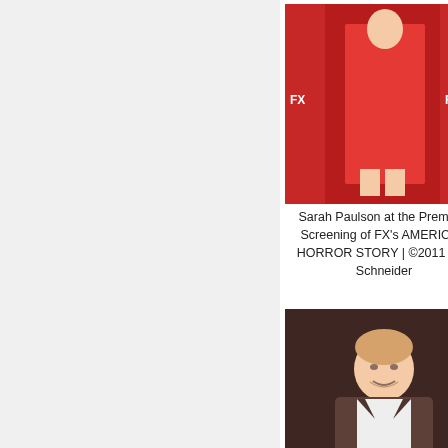[Figure (photo): Sarah Paulson at the Premiere Screening of FX's AMERICAN HORROR STORY, photo by Sue Schneider 2011]
Sarah Paulson at the Premiere Screening of FX's AMERICAN HORROR STORY | ©2011 Sue Schneider
[Figure (photo): Shelby Young at the Premiere Screening of FX's AMERICAN HORROR STORY, photo by Sue Schneider 2011 (partially cropped)]
Shelby Yo... Premiere S... FX's AM... HORROR... ©2011 Sue...
[Figure (photo): Teddy Sears at the Premiere Screening of FX's AMERICAN HORROR STORY, photo by Sue Schneider 2011]
Teddy Sears at the Premiere Screening of FX's AMERICAN HORROR STORY | ©2011 Sue Schneider
[Figure (photo): The Poster/promotional image at the Premiere Screening of FX's AMERICAN HORROR STORY, photo by Sue Schneider 2011 (partially cropped)]
The Pos... Premiere S... FX's AM... HORROR... ©2011 Sue...